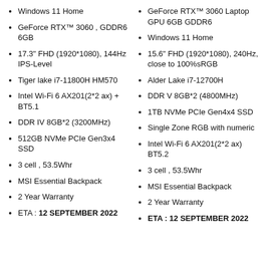Windows 11 Home
GeForce RTX™ 3060 , GDDR6 6GB
17.3" FHD (1920*1080), 144Hz IPS-Level
Tiger lake i7-11800H HM570
Intel Wi-Fi 6 AX201(2*2 ax) + BT5.1
DDR IV 8GB*2 (3200MHz)
512GB NVMe PCIe Gen3x4 SSD
3 cell , 53.5Whr
MSI Essential Backpack
2 Year Warranty
ETA : 12 SEPTEMBER 2022
GeForce RTX™ 3060 Laptop GPU 6GB GDDR6
Windows 11 Home
15.6" FHD (1920*1080), 240Hz, close to 100%sRGB
Alder Lake i7-12700H
DDR V 8GB*2 (4800MHz)
1TB NVMe PCIe Gen4x4 SSD
Single Zone RGB with numeric
Intel Wi-Fi 6 AX201(2*2 ax) BT5.2
3 cell , 53.5Whr
MSI Essential Backpack
2 Year Warranty
ETA : 12 SEPTEMBER 2022